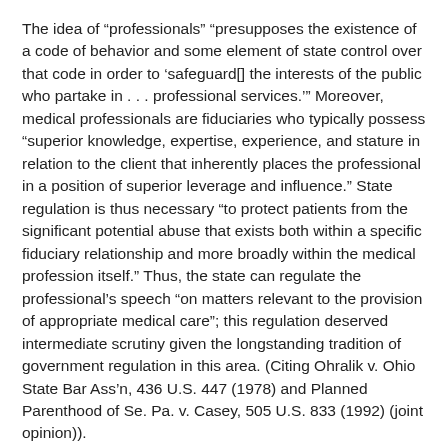The idea of “professionals” “presupposes the existence of a code of behavior and some element of state control over that code in order to ‘safeguard[] the interests of the public who partake in . . . professional services.’” Moreover, medical professionals are fiduciaries who typically possess “superior knowledge, expertise, experience, and stature in relation to the client that inherently places the professional in a position of superior leverage and influence.” State regulation is thus necessary “to protect patients from the significant potential abuse that exists both within a specific fiduciary relationship and more broadly within the medical profession itself.” Thus, the state can regulate the professional’s speech “on matters relevant to the provision of appropriate medical care”; this regulation deserved intermediate scrutiny given the longstanding tradition of government regulation in this area. (Citing Ohralik v. Ohio State Bar Ass’n, 436 U.S. 447 (1978) and Planned Parenthood of Se. Pa. v. Casey, 505 U.S. 833 (1992) (joint opinion)).
Under that standard, Judge Tjoflat would have sustained the law. “[T]he Act merely clarifies the...